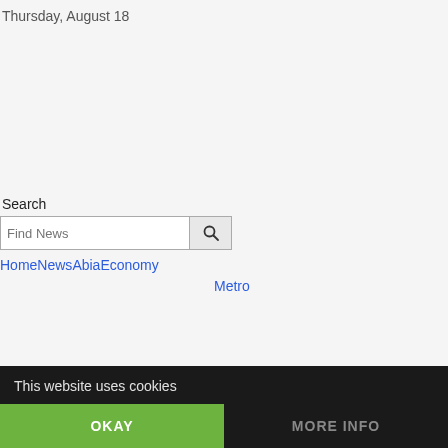Thursday, August 18
Search
Find News
Home News Abia Economy
Metro
This website uses cookies
OKAY
MORE INFO